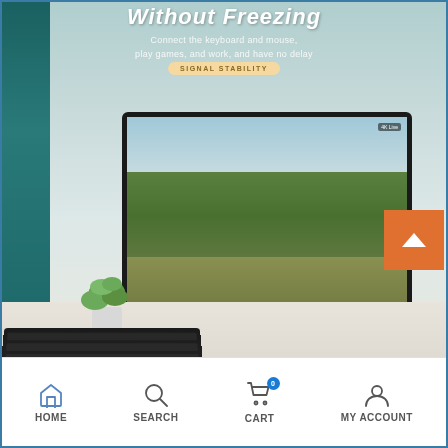[Figure (photo): Product advertisement image showing a gaming monitor on a white marble desk with a keyboard, potted plant, and teal curtain in background. A PUBG-style game is displayed on the monitor screen. Text overlay reads 'Without Freezing' with subtitle 'Connect the keyboard and mouse, play games, and work, and have no delay' and a badge reading 'SIGNAL STABILITY'. An orange scroll-up button is visible in the bottom-right corner of the image.]
Without Freezing
Connect the keyboard and mouse, play games, and work, and have no delay
SIGNAL STABILITY
HOME   SEARCH   CART   MY ACCOUNT